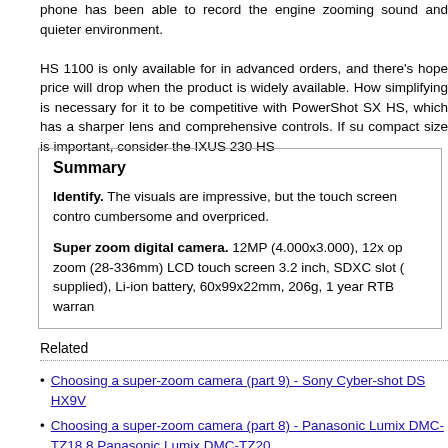phone has been able to record the engine zooming sound and quieter environment.
HS 1100 is only available for in advanced orders, and there's hope price will drop when the product is widely available. However, simplifying is necessary for it to be competitive with PowerPoint SX HS, which has a sharper lens and comprehensive controls. If such compact size is important, consider the IXUS 230 HS
Summary
Identify. The visuals are impressive, but the touch screen controls cumbersome and overpriced.
Super zoom digital camera. 12MP (4.000x3.000), 12x opt zoom (28-336mm) LCD touch screen 3.2 inch, SDXC slot (supplied), Li-ion battery, 60x99x22mm, 206g, 1 year RTB warrant
Related
Choosing a super-zoom camera (part 9) - Sony Cyber-shot DSC-HX9V
Choosing a super-zoom camera (part 8) - Panasonic Lumix DMC-TZ18 8 Panasonic Lumix DMC-TZ20